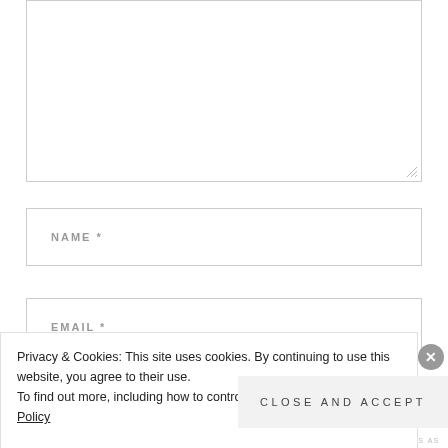[Figure (screenshot): Empty textarea input box with resize handle at bottom-right corner]
NAME *
EMAIL *
Privacy & Cookies: This site uses cookies. By continuing to use this website, you agree to their use.
To find out more, including how to control cookies, see here: Cookie Policy
Close and accept
HIPROTITUS AS